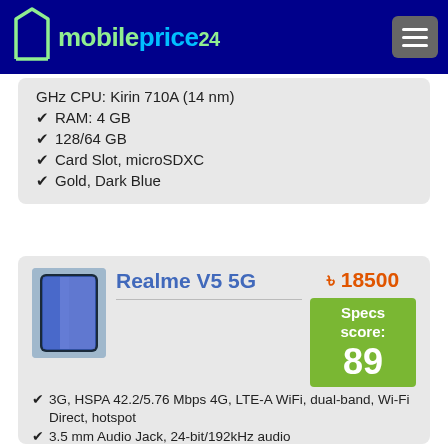mobileprice24
GHz CPU: Kirin 710A (14 nm)
RAM: 4 GB
128/64 GB
Card Slot, microSDXC
Gold, Dark Blue
Realme V5 5G
৳ 18500
Specs score: 89
3G, HSPA 42.2/5.76 Mbps 4G, LTE-A WiFi, dual-band, Wi-Fi Direct, hotspot
3.5 mm Audio Jack, 24-bit/192kHz audio
OS: 10 (Realme UI 1.0)
Size: 6.5 inches
Dual Sim, Dual Nano SIM
CPU Speed: Octa core, 2.0 GHz CPU: MediaTek Dimensity 720 5G (7 nm)
RAM: 6 / 8 GB